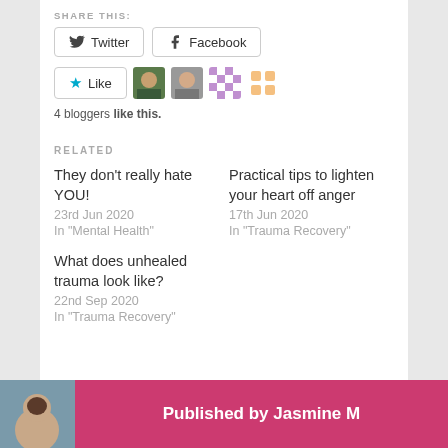SHARE THIS:
Twitter  Facebook
Like  [4 blogger avatars]
4 bloggers like this.
RELATED
They don't really hate YOU!
23rd Jun 2020
In "Mental Health"
Practical tips to lighten your heart off anger
17th Jun 2020
In "Trauma Recovery"
What does unhealed trauma look like?
22nd Sep 2020
In "Trauma Recovery"
Published by Jasmine M